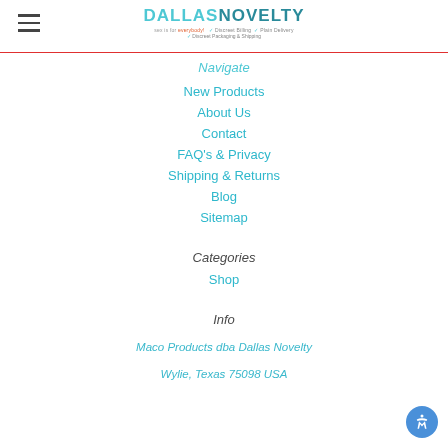Dallas Novelty — sex is for everybody!
Navigate
New Products
About Us
Contact
FAQ's & Privacy
Shipping & Returns
Blog
Sitemap
Categories
Shop
Info
Maco Products dba Dallas Novelty
Wylie, Texas 75098 USA